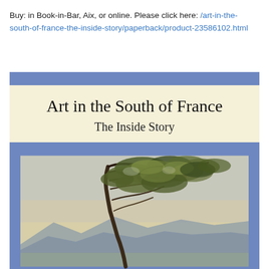Buy: in Book-in-Bar, Aix, or online. Please click here: /art-in-the-south-of-france-the-inside-story/paperback/product-23586102.html
[Figure (illustration): Book cover for 'Art in the South of France: The Inside Story'. Blue border framing a cream/ivory title area with the title text, and below it a painting of a windswept pine tree with mountains in the background in impressionist style.]